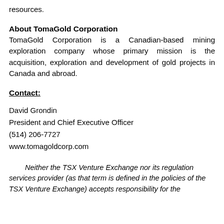resources.
About TomaGold Corporation
TomaGold Corporation is a Canadian-based mining exploration company whose primary mission is the acquisition, exploration and development of gold projects in Canada and abroad.
Contact:
David Grondin
President and Chief Executive Officer
(514) 206-7727
www.tomagoldcorp.com
Neither the TSX Venture Exchange nor its regulation services provider (as that term is defined in the policies of the TSX Venture Exchange) accepts responsibility for the